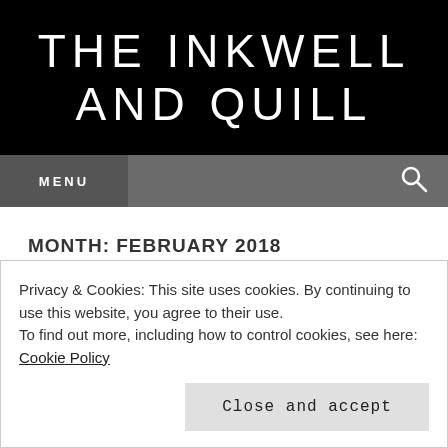THE INKWELL AND QUILL
MENU
MONTH: FEBRUARY 2018
MICHELE MCAVOY & THE
Privacy & Cookies: This site uses cookies. By continuing to use this website, you agree to their use.
To find out more, including how to control cookies, see here: Cookie Policy
Close and accept
your process like?